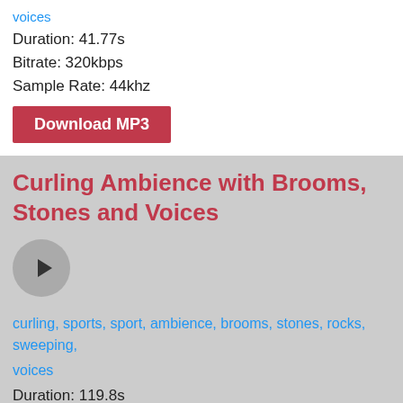voices
Duration: 41.77s
Bitrate: 320kbps
Sample Rate: 44khz
Download MP3
Curling Ambience with Brooms, Stones and Voices
[Figure (other): Play button circle]
curling, sports, sport, ambience, brooms, stones, rocks, sweeping, voices
Duration: 119.8s
Bitrate: 320kbps
Sample Rate: 44khz
Download MP3